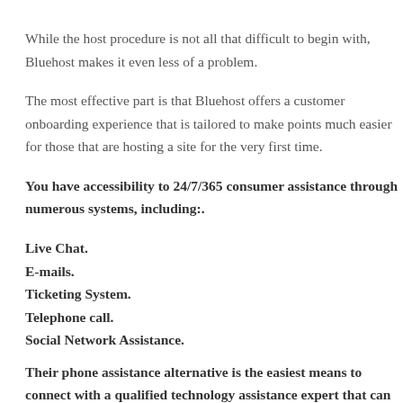While the host procedure is not all that difficult to begin with, Bluehost makes it even less of a problem.
The most effective part is that Bluehost offers a customer onboarding experience that is tailored to make points much easier for those that are hosting a site for the very first time.
You have accessibility to 24/7/365 consumer assistance through numerous systems, including:.
Live Chat.
E-mails.
Ticketing System.
Telephone call.
Social Network Assistance.
Their phone assistance alternative is the easiest means to connect with a qualified technology assistance expert that can help you settle your problems.